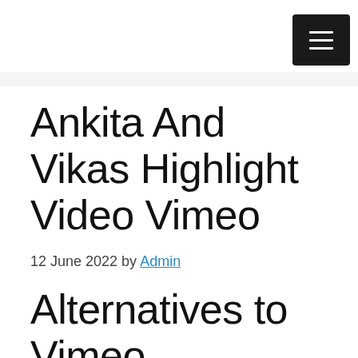☰
Ankita And Vikas Highlight Video Vimeo
12 June 2022 by Admin
Alternatives to Vimeo